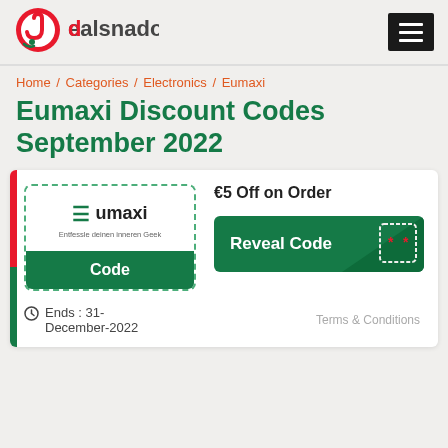[Figure (logo): Dealsnado logo with red and green circular icon and text]
Home / Categories / Electronics / Eumaxi
Eumaxi Discount Codes September 2022
[Figure (infographic): Eumaxi coupon card with €5 Off on Order, Reveal Code button, ends 31-December-2022]